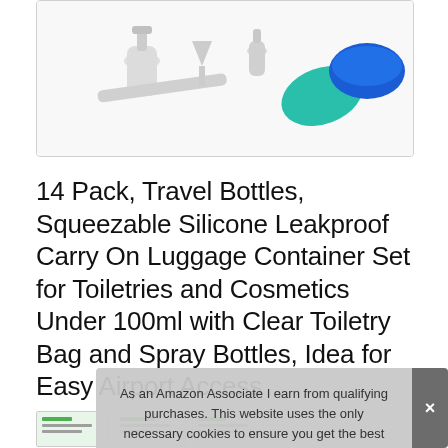[Figure (photo): Product photo of travel bottles set including silicone containers, spray bottles, and blue/teal silicone bowls on white background]
14 Pack, Travel Bottles, Squeezable Silicone Leakproof Carry On Luggage Container Set for Toiletries and Cosmetics Under 100ml with Clear Toiletry Bag and Spray Bottles, Idea for Easy Airport Access
As an Amazon Associate I earn from qualifying purchases. This website uses the only necessary cookies to ensure you get the best experience on our website. More information